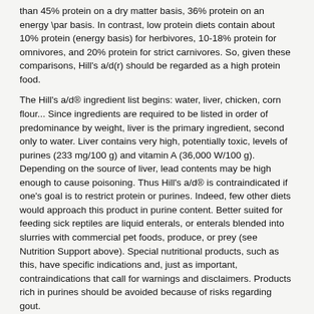than 45% protein on a dry matter basis, 36% protein on an energy \par basis. In contrast, low protein diets contain about 10% protein (energy basis) for herbivores, 10-18% protein for omnivores, and 20% protein for strict carnivores. So, given these comparisons, Hill's a/d(r) should be regarded as a high protein food.
The Hill's a/d® ingredient list begins: water, liver, chicken, corn flour... Since ingredients are required to be listed in order of predominance by weight, liver is the primary ingredient, second only to water. Liver contains very high, potentially toxic, levels of purines (233 mg/100 g) and vitamin A (36,000 W/100 g). Depending on the source of liver, lead contents may be high enough to cause poisoning. Thus Hill's a/d® is contraindicated if one's goal is to restrict protein or purines. Indeed, few other diets would approach this product in purine content. Better suited for feeding sick reptiles are liquid enterals, or enterals blended into slurries with commercial pet foods, produce, or prey (see Nutrition Support above). Special nutritional products, such as this, have specific indications and, just as important, contraindications that call for warnings and disclaimers. Products rich in purines should be avoided because of risks regarding gout.
Fiction: Reptiles and amphibians synthesize vitamin C, hence need no dietary ascorbic acid.
Fact: A fine study published several years ago showed that snakes tube- fed semi-purified diets containing either 0 or 500 mg/kg dry matter (DM) ascorbic acid for 76 days maintained total